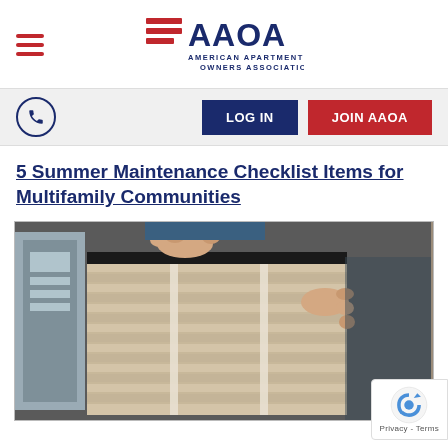AAOA - American Apartment Owners Association
5 Summer Maintenance Checklist Items for Multifamily Communities
[Figure (photo): Person holding a large rectangular HVAC air filter, being inserted into or removed from an HVAC unit. The filter has a beige pleated design with white support straps. The background shows metal ductwork.]